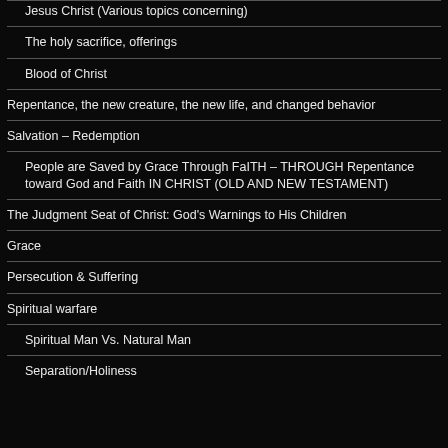Jesus Christ (Various topics concerning)
The holy sacrifice, offerings
Blood of Christ
Repentance, the new creature, the new life, and changed behavior
Salvation – Redemption
People are Saved by Grace Through FaITH – THROUGH Repentance toward God and Faith IN CHRIST (OLD AND NEW TESTAMENT)
The Judgment Seat of Christ: God's Warnings to His Children
Grace
Persecution & Suffering
Spiritual warfare
Spiritual Man Vs. Natural Man
Separation/Holiness